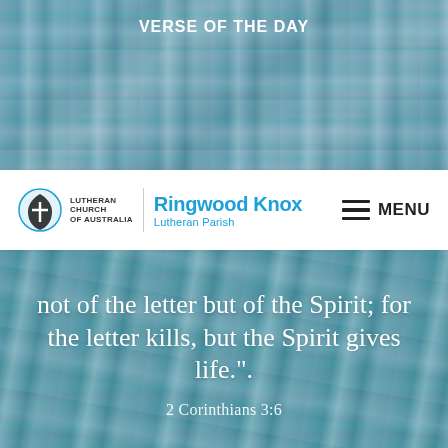VERSE OF THE DAY
[Figure (photo): Top banner background photo showing teal/turquoise wooden planks with a blue and white plaid shirt draped over them]
Ringwood Knox Lutheran Parish
LUTHERAN CHURCH OF AUSTRALIA
MENU
[Figure (photo): Bottom background photo of teal wooden planks with blue plaid shirt, used as backdrop for Bible verse text]
not of the letter but of the Spirit; for the letter kills, but the Spirit gives life.".
2 Corinthians 3:6